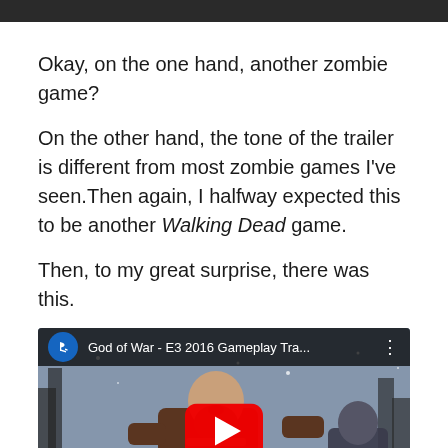[Figure (screenshot): Dark top navigation bar]
Okay, on the one hand, another zombie game?
On the other hand, the tone of the trailer is different from most zombie games I've seen.Then again, I halfway expected this to be another Walking Dead game.
Then, to my great surprise, there was this.
[Figure (screenshot): YouTube video embed showing God of War - E3 2016 Gameplay Tra... with PlayStation logo, play button, and Kratos gameplay footage]